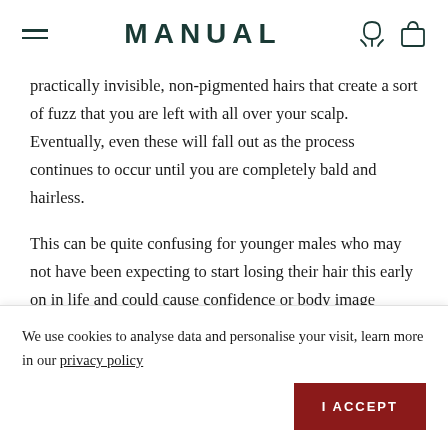MANUAL
practically invisible, non-pigmented hairs that create a sort of fuzz that you are left with all over your scalp. Eventually, even these will fall out as the process continues to occur until you are completely bald and hairless.
This can be quite confusing for younger males who may not have been expecting to start losing their hair this early on in life and could cause confidence or body image
We use cookies to analyse data and personalise your visit, learn more in our privacy policy